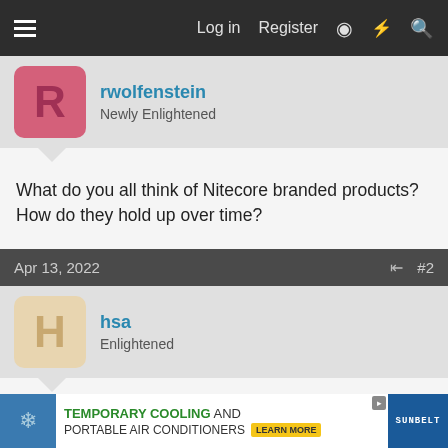Log in  Register
rwolfenstein
Newly Enlightened
What do you all think of Nitecore branded products? How do they hold up over time?
Apr 13, 2022  #2
hsa
Enlightened
I have owned one for a little over two years. I am out for a walk every night and the Nitecore P 30 has been with me most of the time. It has been perfect in every way but that is my only